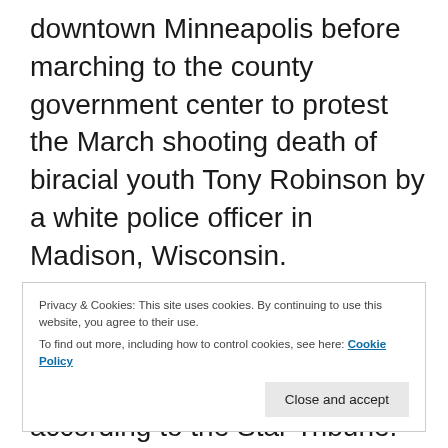downtown Minneapolis before marching to the county government center to protest the March shooting death of biracial youth Tony Robinson by a white police officer in Madison, Wisconsin.
The march was organized by the Black Liberation Project, said member Vanessa Taylor, according to the Star Tribune.
Privacy & Cookies: This site uses cookies. By continuing to use this website, you agree to their use.
To find out more, including how to control cookies, see here: Cookie Policy